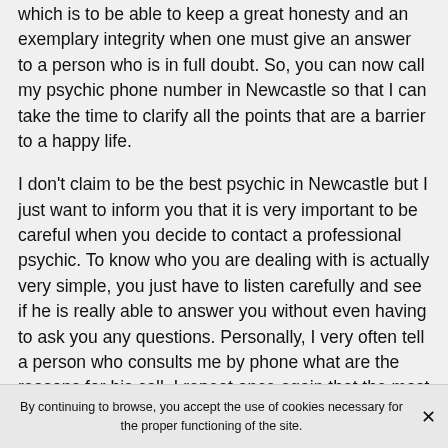which is to be able to keep a great honesty and an exemplary integrity when one must give an answer to a person who is in full doubt. So, you can now call my psychic phone number in Newcastle so that I can take the time to clarify all the points that are a barrier to a happy life.
I don't claim to be the best psychic in Newcastle but I just want to inform you that it is very important to be careful when you decide to contact a professional psychic. To know who you are dealing with is actually very simple, you just have to listen carefully and see if he is really able to answer you without even having to ask you any questions. Personally, I very often tell a person who consults me by phone what are the reasons for his call. I repeat once again that the most important thing for an individual who consults in a psychic office is to be able to trust and not to
By continuing to browse, you accept the use of cookies necessary for the proper functioning of the site.